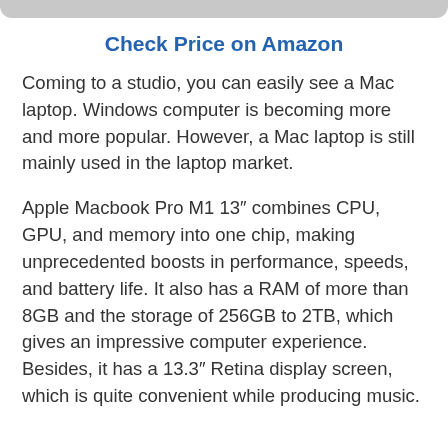Check Price on Amazon
Coming to a studio, you can easily see a Mac laptop. Windows computer is becoming more and more popular. However, a Mac laptop is still mainly used in the laptop market.
Apple Macbook Pro M1 13″ combines CPU, GPU, and memory into one chip, making unprecedented boosts in performance, speeds, and battery life. It also has a RAM of more than 8GB and the storage of 256GB to 2TB, which gives an impressive computer experience. Besides, it has a 13.3″ Retina display screen, which is quite convenient while producing music.